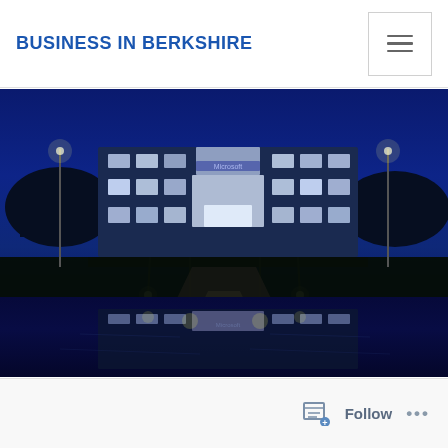BUSINESS IN BERKSHIRE
[Figure (photo): Night-time photograph of a large modern office building (Microsoft headquarters) illuminated against a deep blue sky, with its reflection visible in a foreground pond. A lit pathway leads to the building entrance. The Microsoft logo is visible on the facade.]
Follow ...